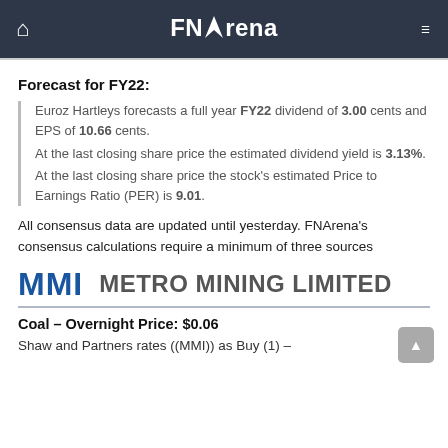FNArena
Forecast for FY22:
Euroz Hartleys forecasts a full year FY22 dividend of 3.00 cents and EPS of 10.66 cents. At the last closing share price the estimated dividend yield is 3.13%. At the last closing share price the stock's estimated Price to Earnings Ratio (PER) is 9.01.
All consensus data are updated until yesterday. FNArena's consensus calculations require a minimum of three sources
MMI   METRO MINING LIMITED
Coal – Overnight Price: $0.06
Shaw and Partners rates ((MMI)) as Buy (1) –